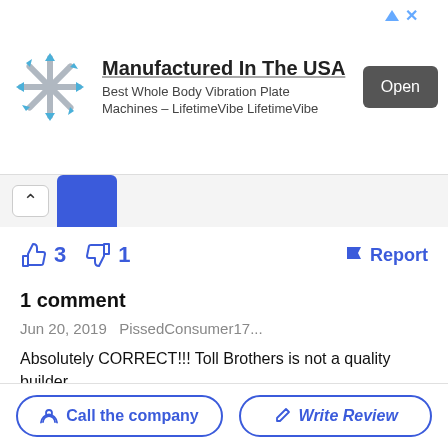[Figure (infographic): Advertisement banner: snowflake-like logo on left, text 'Manufactured In The USA / Best Whole Body Vibration Plate Machines – LifetimeVibe LifetimeVibe', and an 'Open' button on the right.]
1 comment
Jun 20, 2019   PissedConsumer17...
Absolutely CORRECT!!! Toll Brothers is not a quality builder.

They have pivoted and now the low budget trash of home builders. It's disgusting to say the least.
Call the company
Write Review